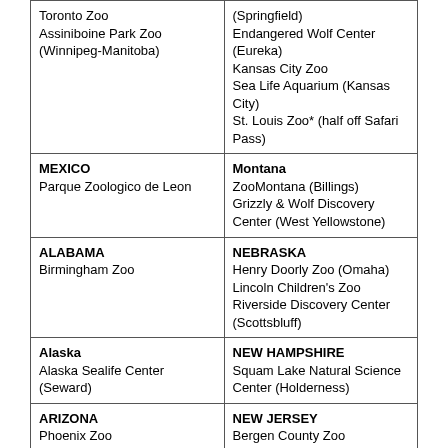| Location | Location |
| --- | --- |
| Toronto Zoo
Assiniboine Park Zoo (Winnipeg-Manitoba) | (Springfield)
Endangered Wolf Center (Eureka)
Kansas City Zoo
Sea Life Aquarium (Kansas City)
St. Louis Zoo* (half off Safari Pass) |
| MEXICO
Parque Zoologico de Leon | Montana
ZooMontana (Billings)
Grizzly & Wolf Discovery Center (West Yellowstone) |
| ALABAMA
Birmingham Zoo | NEBRASKA
Henry Doorly Zoo (Omaha)
Lincoln Children's Zoo
Riverside Discovery Center (Scottsbluff) |
| Alaska
Alaska Sealife Center (Seward) | NEW HAMPSHIRE
Squam Lake Natural Science Center (Holderness) |
| ARIZONA
Phoenix Zoo | NEW JERSEY
Bergen County Zoo (Paramus) |